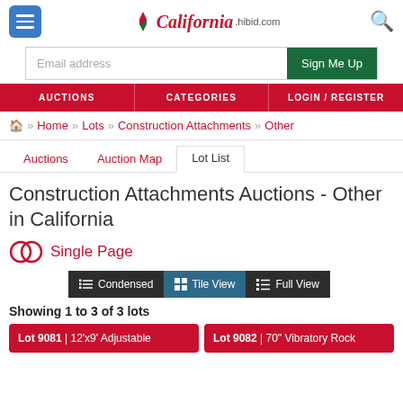California.hibid.com
Email address | Sign Me Up
AUCTIONS | CATEGORIES | LOGIN / REGISTER
Home >> Lots >> Construction Attachments >> Other
Auctions | Auction Map | Lot List
Construction Attachments Auctions - Other in California
Single Page
Condensed | Tile View | Full View
Showing 1 to 3 of 3 lots
Lot 9081 | 12'x9' Adjustable
Lot 9082 | 70" Vibratory Rock